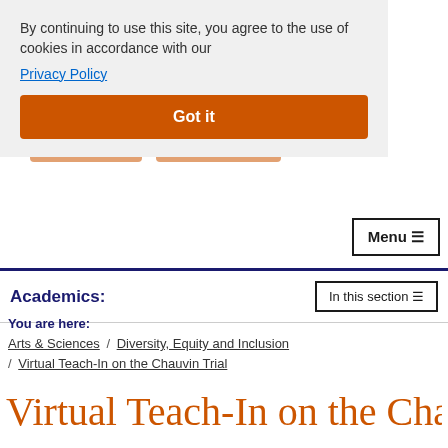[Figure (screenshot): Syracuse University College of Arts & Sciences logo — stylized S in orange and text, partially visible behind cookie consent overlay]
By continuing to use this site, you agree to the use of cookies in accordance with our
Privacy Policy
Got it
Menu ☰
Academics:
In this section ☰
You are here:
Arts & Sciences / Diversity, Equity and Inclusion / Virtual Teach-In on the Chauvin Trial
Virtual Teach-In on the Chauvin